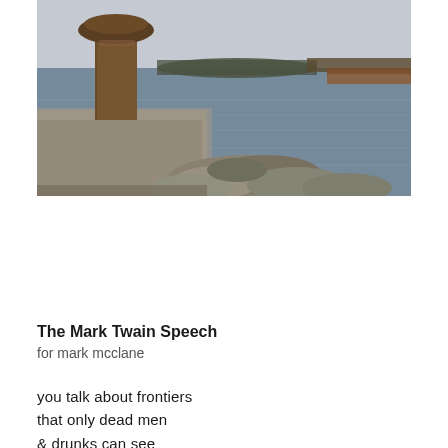[Figure (photo): Outdoor riverside photograph showing a rusted iron mooring bollard on a concrete pier in the foreground, with a wide river in the middle ground, a barge or dock visible on the right, distant tree-lined shore on the horizon, and a grey overcast sky. Rocks are piled at the base of the concrete structure.]
The Mark Twain Speech
for mark mcclane
you talk about frontiers
that only dead men
& drunks can see